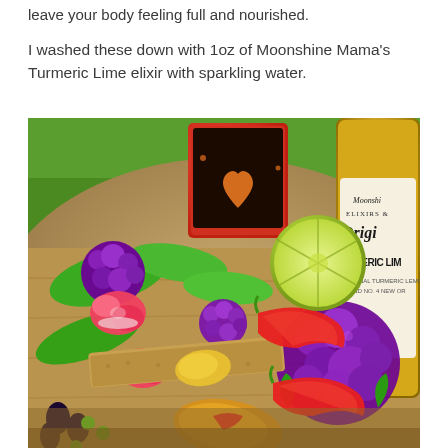leave your body feeling full and nourished.
I washed these down with 1oz of Moonshine Mama's Turmeric Lime elixir with sparkling water.
[Figure (photo): A colorful food spread on a wooden board featuring purple cauliflower, radishes, green vegetables, crackers with toppings, red chili peppers, a halved lime, and a jar of Moonshine Mama's Original Turmeric Lime elixir in the background, along with a red box of snacks.]